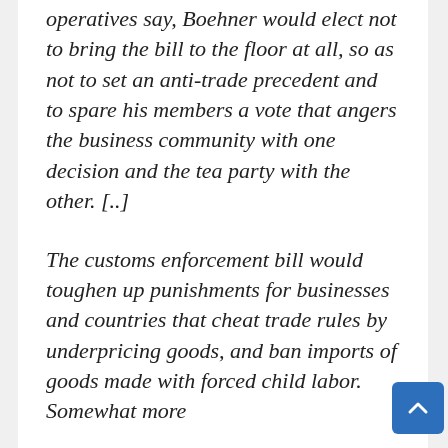operatives say, Boehner would elect not to bring the bill to the floor at all, so as not to set an anti-trade precedent and to spare his members a vote that angers the business community with one decision and the tea party with the other. [..]
The customs enforcement bill would toughen up punishments for businesses and countries that cheat trade rules by underpricing goods, and ban imports of goods made with forced child labor. Somewhat more